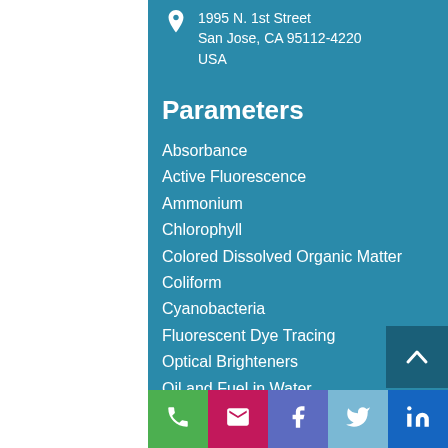1995 N. 1st Street
San Jose, CA 95112-4220
USA
Parameters
Absorbance
Active Fluorescence
Ammonium
Chlorophyll
Colored Dissolved Organic Matter
Coliform
Cyanobacteria
Fluorescent Dye Tracing
Optical Brighteners
Oil and Fuel in Water
pCO2
Tryptophan
Turbidity
Customer Support